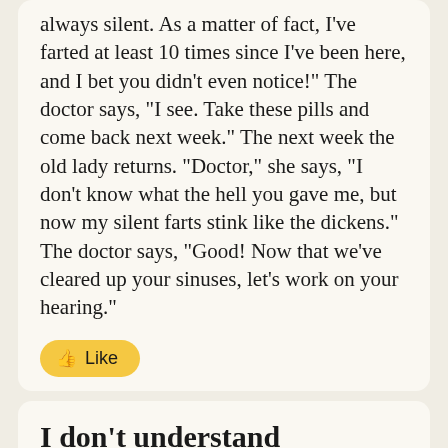always silent. As a matter of fact, I've farted at least 10 times since I've been here, and I bet you didn't even notice!" The doctor says, "I see. Take these pills and come back next week." The next week the old lady returns. "Doctor," she says, "I don't know what the hell you gave me, but now my silent farts stink like the dickens." The doctor says, "Good! Now that we've cleared up your sinuses, let's work on your hearing."
[Figure (other): Yellow 'Like' button with thumbs up emoji]
I don't understand Christians
They say that gambling is wrong, but they bet their entire life on there being a heaven